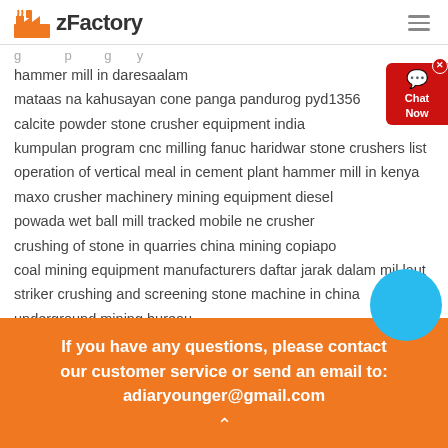zFactory
hammer mill in daresaalam
mataas na kahusayan cone panga pandurog pyd1356
calcite powder stone crusher equipment india
kumpulan program cnc milling fanuc haridwar stone crushers list
operation of vertical meal in cement plant hammer mill in kenya
maxo crusher machinery mining equipment diesel
powada wet ball mill tracked mobile ne crusher
crushing of stone in quarries china mining copiapo
coal mining equipment manufacturers daftar jarak dalam mil laut
striker crushing and screening stone machine in china
underground mining bureau
If you have any questions, please contact our customer service or send an email to: adiaryounger@gmail.com